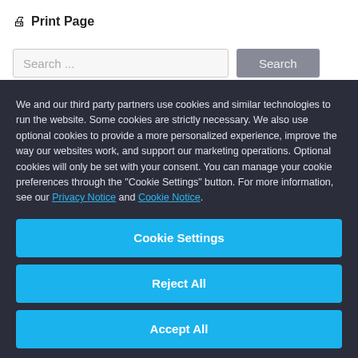🖨 Print Page
Search ...
We and our third party partners use cookies and similar technologies to run the website. Some cookies are strictly necessary. We also use optional cookies to provide a more personalized experience, improve the way our websites work, and support our marketing operations. Optional cookies will only be set with your consent. You can manage your cookie preferences through the "Cookie Settings" button. For more information, see our Privacy Notice and Cookie Notice.
Cookie Settings
Reject All
Accept All